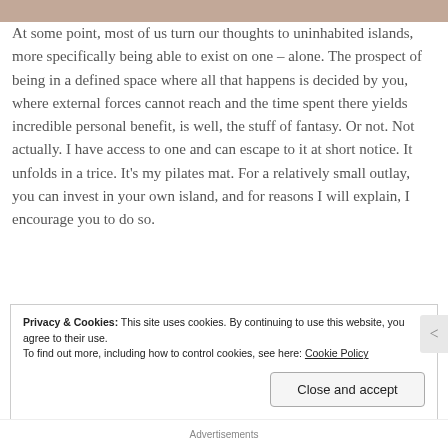[Figure (photo): Top image bar in muted rose/tan color]
At some point, most of us turn our thoughts to uninhabited islands, more specifically being able to exist on one – alone. The prospect of being in a defined space where all that happens is decided by you, where external forces cannot reach and the time spent there yields incredible personal benefit, is well, the stuff of fantasy. Or not. Not actually. I have access to one and can escape to it at short notice. It unfolds in a trice. It's my pilates mat. For a relatively small outlay, you can invest in your own island, and for reasons I will explain, I encourage you to do so.
Privacy & Cookies: This site uses cookies. By continuing to use this website, you agree to their use. To find out more, including how to control cookies, see here: Cookie Policy
Close and accept
Advertisements